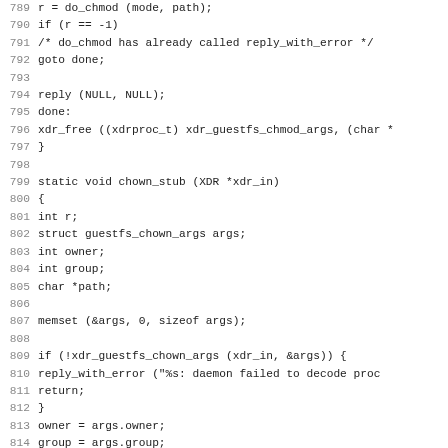Source code listing, lines 789-820, C code for chown_stub and chmod functions